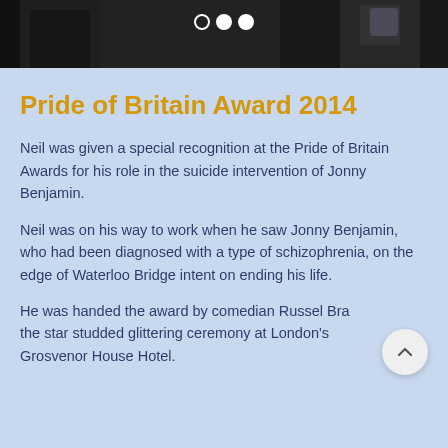[Figure (photo): Top portion of a photograph showing people in formal attire at an awards ceremony, cropped at the bottom. Carousel navigation dots visible.]
Pride of Britain Award 2014
Neil was given a special recognition at the Pride of Britain Awards for his role in the suicide intervention of Jonny Benjamin.
Neil was on his way to work when he saw Jonny Benjamin, who had been diagnosed with a type of schizophrenia, on the edge of Waterloo Bridge intent on ending his life.
He was handed the award by comedian Russel Bra… the star studded glittering ceremony at London's Grosvenor House Hotel.